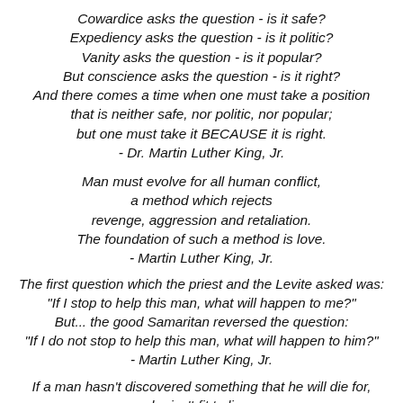Cowardice asks the question - is it safe?
Expediency asks the question - is it politic?
Vanity asks the question - is it popular?
But conscience asks the question - is it right?
And there comes a time when one must take a position
that is neither safe, nor politic, nor popular;
but one must take it BECAUSE it is right.
- Dr. Martin Luther King, Jr.
Man must evolve for all human conflict,
a method which rejects
revenge, aggression and retaliation.
The foundation of such a method is love.
- Martin Luther King, Jr.
The first question which the priest and the Levite asked was:
"If I stop to help this man, what will happen to me?"
But... the good Samaritan reversed the question:
"If I do not stop to help this man, what will happen to him?"
- Martin Luther King, Jr.
If a man hasn't discovered something that he will die for,
he isn't fit to live.
- Martin Luther King, Jr.